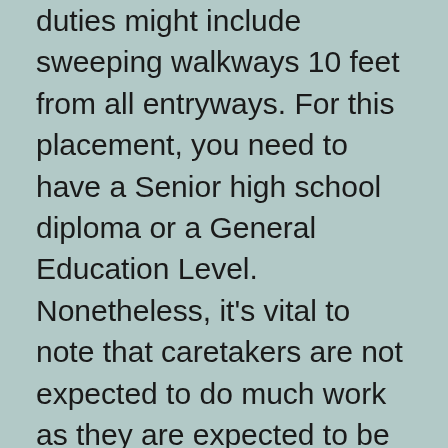duties might include sweeping walkways 10 feet from all entryways. For this placement, you need to have a Senior high school diploma or a General Education Level. Nonetheless, it's vital to note that caretakers are not expected to do much work as they are expected to be alert as well as trusted.
A housekeeper is accountable for ensuring the general tidiness of a structure, as well as giving hygienic amenities for citizens as well as visitors. Housemaids additionally tidy beds, dirt surface areas, as well as various other